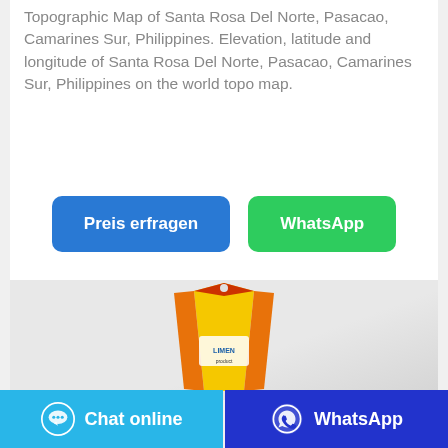Topographic Map of Santa Rosa Del Norte, Pasacao, Camarines Sur, Philippines. Elevation, latitude and longitude of Santa Rosa Del Norte, Pasacao, Camarines Sur, Philippines on the world topo map.
[Figure (other): Two buttons: 'Preis erfragen' (blue) and 'WhatsApp' (green)]
[Figure (photo): Product photo: a yellow and orange packaged product (tube/bottle) against a light grey background]
[Figure (other): Bottom bar with two buttons: 'Chat online' (light blue with chat bubble icon) and 'WhatsApp' (dark blue with WhatsApp icon)]